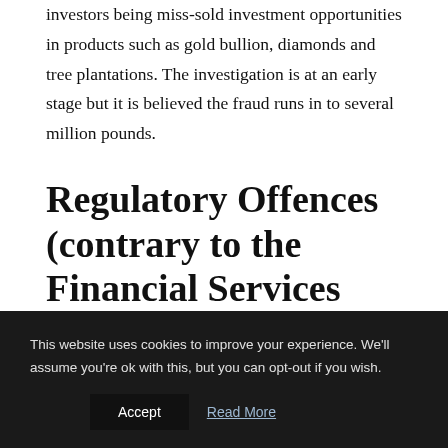investors being miss-sold investment opportunities in products such as gold bullion, diamonds and tree plantations. The investigation is at an early stage but it is believed the fraud runs in to several million pounds.
Regulatory Offences (contrary to the Financial Services and Markets Act 2002)
This website uses cookies to improve your experience. We'll assume you're ok with this, but you can opt-out if you wish.